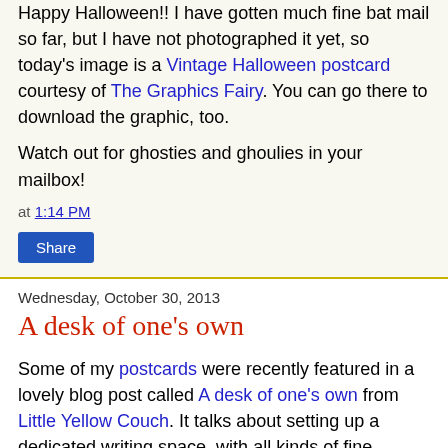Happy Halloween!! I have gotten much fine bat mail so far, but I have not photographed it yet, so today's image is a Vintage Halloween postcard courtesy of The Graphics Fairy. You can go there to download the graphic, too.
Watch out for ghosties and ghoulies in your mailbox!
at 1:14 PM
Share
Wednesday, October 30, 2013
A desk of one's own
Some of my postcards were recently featured in a lovely blog post called A desk of one's own from Little Yellow Couch. It talks about setting up a dedicated writing space, with all kinds of fine accessories, and has lovely photographs with engaging text. Specifically, she featured my Swallow's Air Mail Garden postcard set, and I'm so